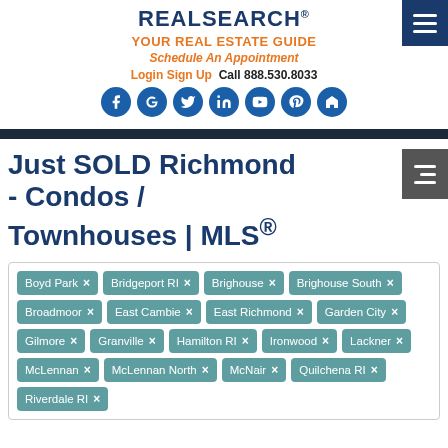REALSEARCH® YOUR REAL ESTATE GUIDE
Schedule An Appointment
Login  Sign Up  Call 888.530.8033
[Figure (other): Social media icon buttons: Facebook, Google, Twitter, LinkedIn, YouTube, Pinterest, House/realtor]
Just SOLD Richmond - Condos / Townhouses | MLS®
Boyd Park × Bridgeport RI × Brighouse × Brighouse South × Broadmoor × East Cambie × East Richmond × Garden City × Gilmore × Granville × Hamilton RI × Ironwood × Lackner × McLennan × McLennan North × McNair × Quilchena RI × Riverdale RI ×